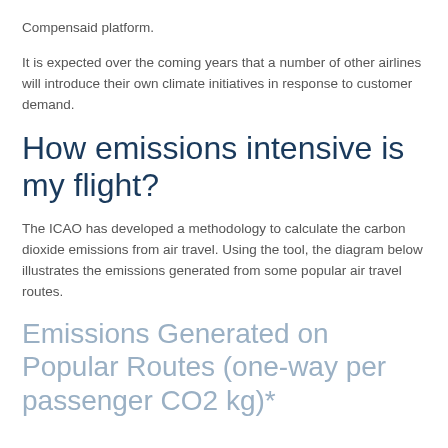Compensaid platform.
It is expected over the coming years that a number of other airlines will introduce their own climate initiatives in response to customer demand.
How emissions intensive is my flight?
The ICAO has developed a methodology to calculate the carbon dioxide emissions from air travel. Using the tool, the diagram below illustrates the emissions generated from some popular air travel routes.
Emissions Generated on Popular Routes (one-way per passenger CO2 kg)*